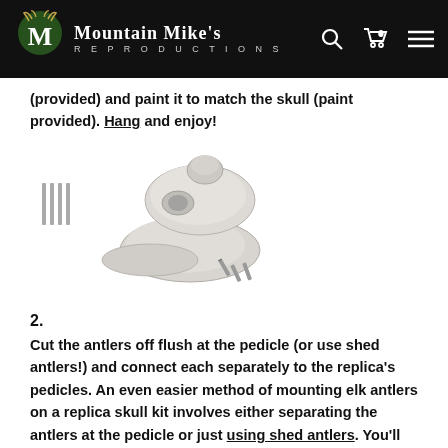Mountain Mike's Reproductions
(provided) and paint it to match the skull (paint provided). Hang and enjoy!
[Figure (illustration): Illustration of an elk skull replica kit components including a skull, antler plates, and screws/nails]
2.
Cut the antlers off flush at the pedicle (or use shed antlers!) and connect each separately to the replica's pedicles. An even easier method of mounting elk antlers on a replica skull kit involves either separating the antlers at the pedicle or just using shed antlers. You'll follow the easy instructions that come with the Skull Master replica elk skull kit to align the antler with the top plate, drill up into the antler, and attach the antlers to the top plate with the provided screws. Then you just attach the top section of the skull to the bottom section